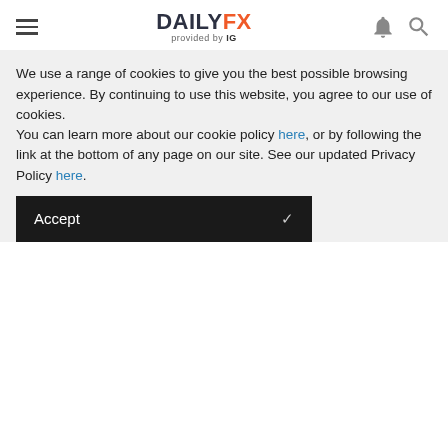DAILYFX provided by IG
Aug 25, 2022 0:30 PM +00:00
EUR/USD Technical Analysis: Treading Water Around July Lows
Aug 25, 2022 1:00 PM +00:00
Australian Dollar Forecast: No Bullish Follow Through, Yet - Setups for AUD/JPY, AUD/USD
Aug 24, 2022 7:00 PM +00:00
We use a range of cookies to give you the best possible browsing experience. By continuing to use this website, you agree to our use of cookies.
You can learn more about our cookie policy here, or by following the link at the bottom of any page on our site. See our updated Privacy Policy here.
Accept